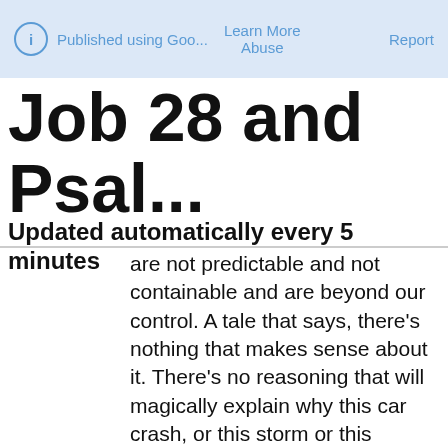ⓘ Published using Goo...   Learn More   Abuse   Report
Job 28 and Psal...
Updated automatically every 5 minutes
are not predictable and not containable and are beyond our control. A tale that says, there's nothing that makes sense about it. There's no reasoning that will magically explain why this car crash, or this storm or this disease.

And that is why we are reminded by Job that wisdom - wisdom about how to survive with soul in tact - that kind of wisdom comes from stepping out of our storyline and turning to God. Reverence for God - that is wisdom.